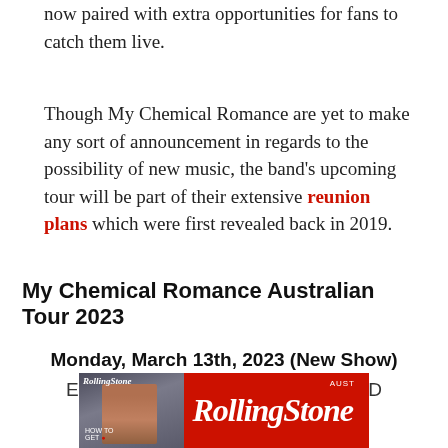now paired with extra opportunities for fans to catch them live.
Though My Chemical Romance are yet to make any sort of announcement in regards to the possibility of new music, the band's upcoming tour will be part of their extensive reunion plans which were first revealed back in 2019.
My Chemical Romance Australian Tour 2023
Monday, March 13th, 2023 (New Show)
Entertainment Centre, Brisbane, QLD
[Figure (logo): Rolling Stone Australia advertisement banner with red background showing the Rolling Stone logo in white italic text, and a magazine cover image on the left.]